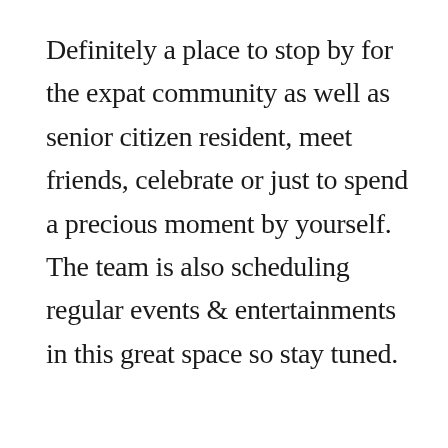Definitely a place to stop by for the expat community as well as senior citizen resident, meet friends, celebrate or just to spend a precious moment by yourself. The team is also scheduling regular events & entertainments in this great space so stay tuned.